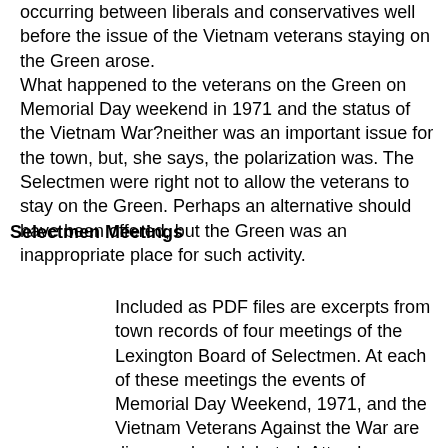occurring between liberals and conservatives well before the issue of the Vietnam veterans staying on the Green arose. What happened to the veterans on the Green on Memorial Day weekend in 1971 and the status of the Vietnam War?neither was an important issue for the town, but, she says, the polarization was. The Selectmen were right not to allow the veterans to stay on the Green. Perhaps an alternative should have been offered, but the Green was an inappropriate place for such activity.
Selectmen Meetings
Included as PDF files are excerpts from town records of four meetings of the Lexington Board of Selectmen. At each of these meetings the events of Memorial Day Weekend, 1971, and the Vietnam Veterans Against the War are discussed and debated. Attendees include Chairman Robert Cataldo, Fred Bailey, Al Busa, Allan Kenney, Natalie Riffin, town manager Walter O?Connell,